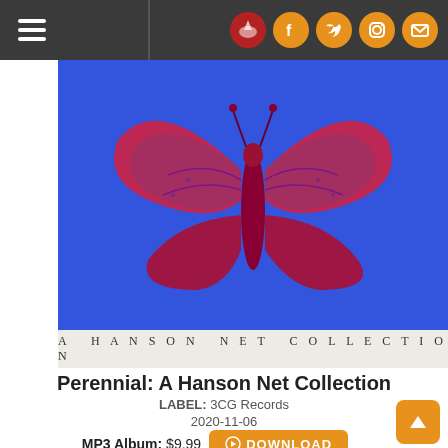Navigation bar with hamburger menu and social icons (logo, Facebook, Twitter, Instagram, Mail)
[Figure (illustration): Album art for Perennial: A Hanson Net Collection — vivid blue background with a large red/purple butterfly illustration, with text 'A HANSON NET COLLECTION' below]
Perennial: A Hanson Net Collection
LABEL: 3CG Records
2020-11-06
MP3 Album: $9.99  DOWNLOAD